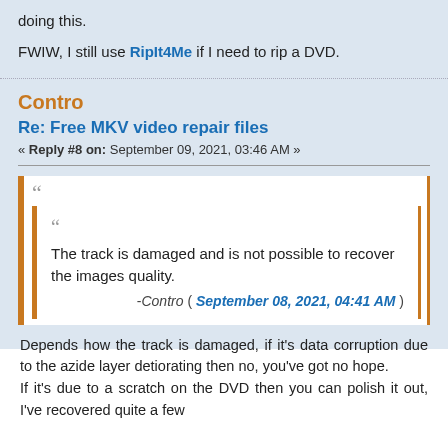doing this.
FWIW, I still use RipIt4Me if I need to rip a DVD.
Contro
Re: Free MKV video repair files
« Reply #8 on: September 09, 2021, 03:46 AM »
The track is damaged and is not possible to recover the images quality.
-Contro ( September 08, 2021, 04:41 AM )
Depends how the track is damaged, if it's data corruption due to the azide layer detiorating then no, you've got no hope.
If it's due to a scratch on the DVD then you can polish it out, I've recovered quite a few